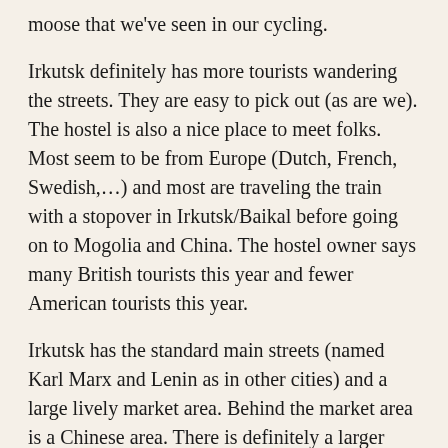moose that we've seen in our cycling.
Irkutsk definitely has more tourists wandering the streets. They are easy to pick out (as are we). The hostel is also a nice place to meet folks. Most seem to be from Europe (Dutch, French, Swedish,…) and most are traveling the train with a stopover in Irkutsk/Baikal before going on to Mogolia and China. The hostel owner says many British tourists this year and fewer American tourists this year.
Irkutsk has the standard main streets (named Karl Marx and Lenin as in other cities) and a large lively market area. Behind the market area is a Chinese area. There is definitely a larger Chinese/Mongolian/Buryat and Asian presence here than we've seen in other Siberian cities. We saw a little in Krasnoyarsk but very little before then. Irkutsk also has a better collection of camping and sport shops than we've seen so far. Women's fashion still includes high heels and short skirts, though less so here than further west.
Overall been a nice few rest days while we regroup, repack